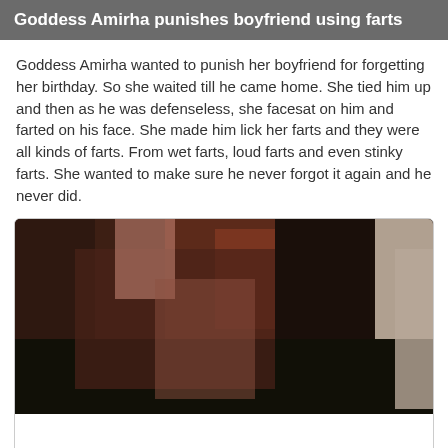Goddess Amirha punishes boyfriend using farts
Goddess Amirha wanted to punish her boyfriend for forgetting her birthday. So she waited till he came home. She tied him up and then as he was defenseless, she facesat on him and farted on his face. She made him lick her farts and they were all kinds of farts. From wet farts, loud farts and even stinky farts. She wanted to make sure he never forgot it again and he never did.
[Figure (photo): Dark screenshot from a video showing figures in a dimly lit room]
Buy this video now!